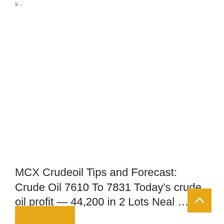y...
MCX Crudeoil Tips and Forecast: Crude Oil 7610 To 7831 Today’s crude oil profit — 44,200 in 2 Lots Neal …
[Figure (other): Scroll to top button (arrow up) with gold/amber background]